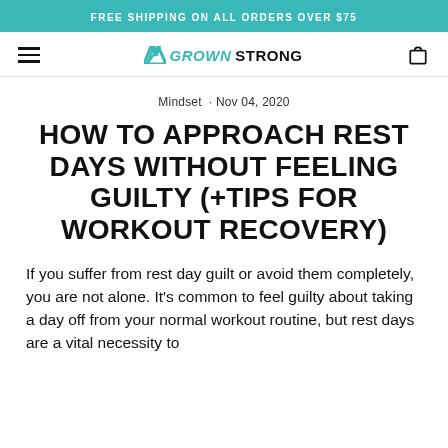FREE SHIPPING ON ALL ORDERS OVER $75
[Figure (logo): GrownStrong logo with teal chevron icon, navigation hamburger menu left and shopping cart icon right]
Mindset · Nov 04, 2020
HOW TO APPROACH REST DAYS WITHOUT FEELING GUILTY (+TIPS FOR WORKOUT RECOVERY)
If you suffer from rest day guilt or avoid them completely, you are not alone. It's common to feel guilty about taking a day off from your normal workout routine, but rest days are a vital necessity to